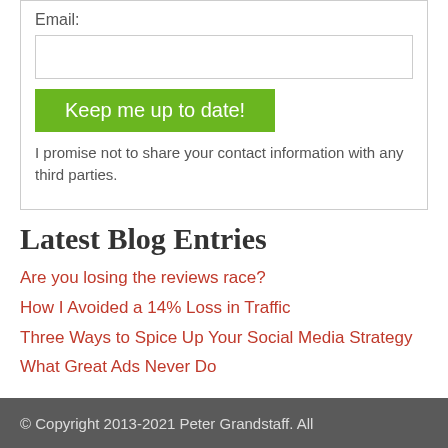Email:
Keep me up to date!
I promise not to share your contact information with any third parties.
Latest Blog Entries
Are you losing the reviews race?
How I Avoided a 14% Loss in Traffic
Three Ways to Spice Up Your Social Media Strategy
What Great Ads Never Do
© Copyright 2013-2021 Peter Grandstaff. All